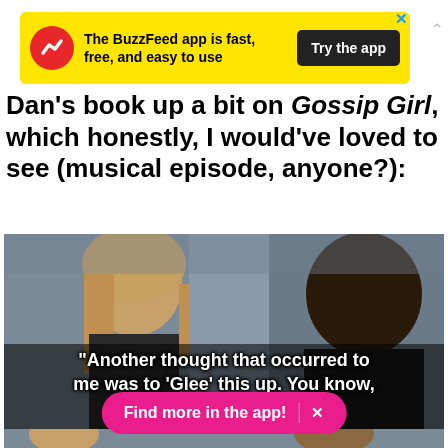[Figure (other): BuzzFeed app advertisement banner with yellow background, red circular logo with white arrow, bold text 'The BuzzFeed app is fast, free, and easy to use', and a dark 'Try the app' button]
Dan's book up a bit on Gossip Girl, which honestly, I would've loved to see (musical episode, anyone?):
[Figure (screenshot): TV show screenshot of two people in conversation, with white bold subtitle text: "Another thought that occurred to me was to 'Glee' this up. You know, music. Originals or covers."]
[Figure (screenshot): Partial screenshot of TV show, partially obscured by a pink 'Find more in the app!' button overlay]